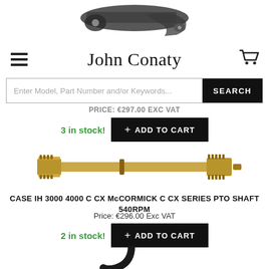[Figure (photo): Partial view of a metal bracket/hook part against white background]
John Conaty
[Figure (screenshot): Search bar with placeholder text 'Enter Model, Part Number and/or Keywords...' and black SEARCH button]
Price: €297.00 Exc VAT
3 in stock!
[Figure (photo): PTO shaft mechanical part, gold/brass coloured, horizontal orientation]
CASE IH 3000 4000 C CX McCORMICK C CX SERIES PTO SHAFT 540RPM
Price: €296.00 Exc VAT
2 in stock!
[Figure (photo): Partial view of a black curved metal part/hook against white background]